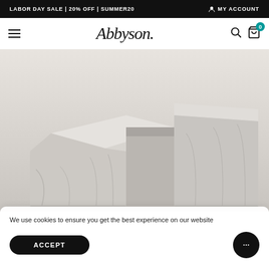LABOR DAY SALE | 20% OFF | SUMMER20   MY ACCOUNT
[Figure (logo): Abbyson brand logo with hamburger menu, search icon, and cart icon with badge 0]
[Figure (photo): Outdoor furniture set covered with light gray/beige protective covers, showing sectional sofa or chairs covered outdoors]
We use cookies to ensure you get the best experience on our website
ACCEPT